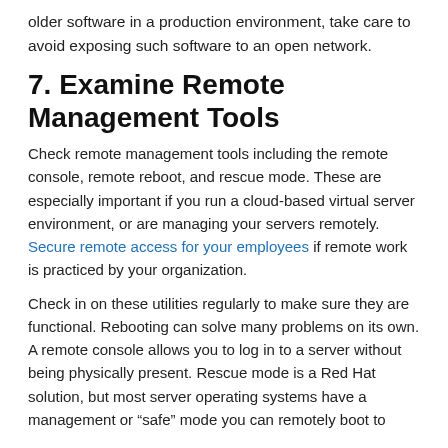older software in a production environment, take care to avoid exposing such software to an open network.
7. Examine Remote Management Tools
Check remote management tools including the remote console, remote reboot, and rescue mode. These are especially important if you run a cloud-based virtual server environment, or are managing your servers remotely. Secure remote access for your employees if remote work is practiced by your organization.
Check in on these utilities regularly to make sure they are functional. Rebooting can solve many problems on its own. A remote console allows you to log in to a server without being physically present. Rescue mode is a Red Hat solution, but most server operating systems have a management or “safe” mode you can remotely boot to